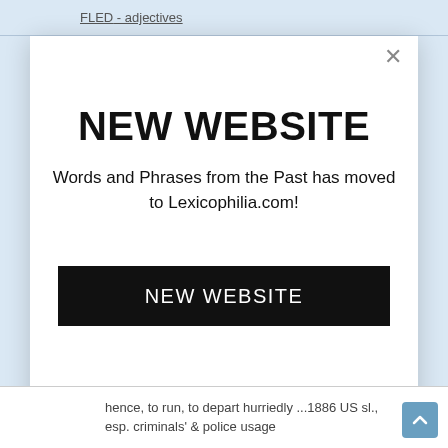FLED - adjectives
NEW WEBSITE
Words and Phrases from the Past has moved to Lexicophilia.com!
NEW WEBSITE
hence, to run, to depart hurriedly ...1886 US sl., esp. criminals' & police usage